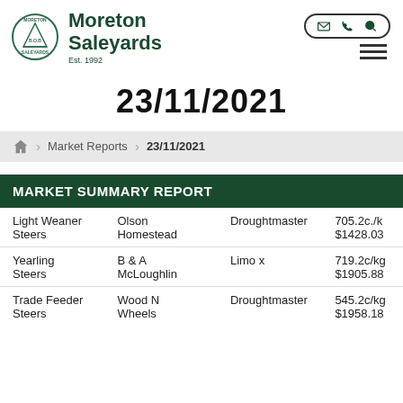Moreton Saleyards Est. 1992
23/11/2021
Home > Market Reports > 23/11/2021
| Category | Vendor | Breed | Price |
| --- | --- | --- | --- |
| Light Weaner Steers | Olson Homestead | Droughtmaster | 705.2c./kg
$1428.03 |
| Yearling Steers | B & A McLoughlin | Limo x | 719.2c/kg
$1905.88 |
| Trade Feeder Steers | Wood N Wheels | Droughtmaster | 545.2c/kg
$1958.18 |